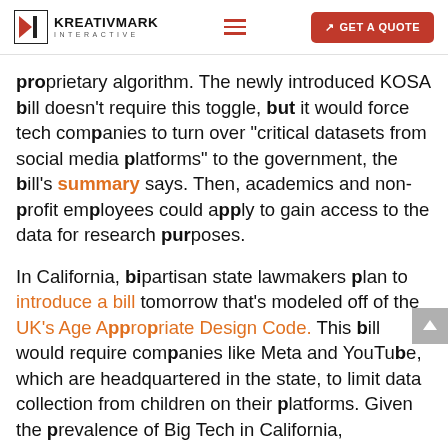KREATIVMARK INTERACTIVE — GET A QUOTE
proprietary algorithm. The newly introduced KOSA bill doesn't require this toggle, but it would force tech companies to turn over "critical datasets from social media platforms" to the government, the bill's summary says. Then, academics and non-profit employees could apply to gain access to the data for research purposes.
In California, bipartisan state lawmakers plan to introduce a bill tomorrow that's modeled off of the UK's Age Appropriate Design Code. This bill would require companies like Meta and YouTube, which are headquartered in the state, to limit data collection from children on their platforms. Given the prevalence of Big Tech in California,